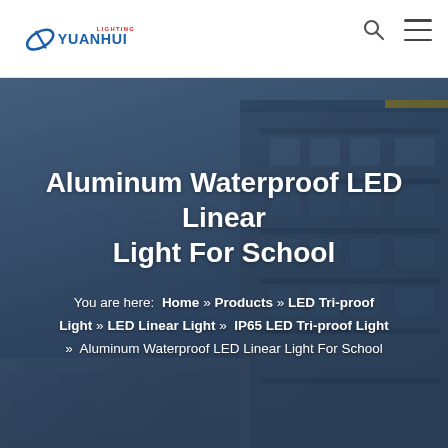Yuanhui Lighting logo, search icon, menu icon
Aluminum Waterproof LED Linear Light For School
You are here: Home » Products » LED Tri-proof Light » LED Linear Light » IP65 LED Tri-proof Light » Aluminum Waterproof LED Linear Light For School